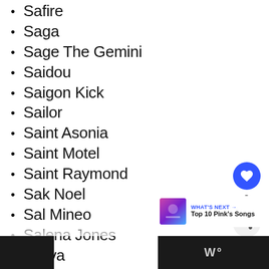Safire
Saga
Sage The Gemini
Saidou
Saigon Kick
Sailor
Saint Asonia
Saint Motel
Saint Raymond
Sak Noel
Sal Mineo
Salena Jones
Saliva
Sally Kellerman
Sally Oldfield
Salt-N-Pepa
Salvador Sobral